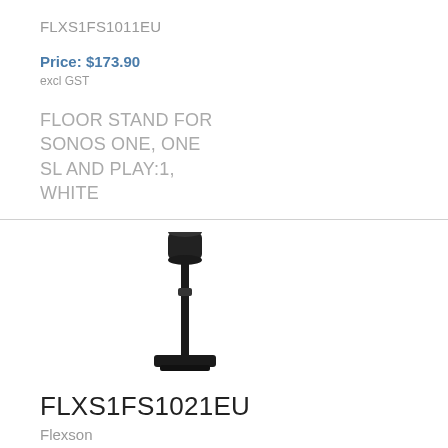FLXS1FS1011EU
Price: $173.90
excl GST
FLOOR STAND FOR SONOS ONE, ONE SL AND PLAY:1, WHITE
[Figure (photo): Black floor stand for Sonos speaker, tall slim pole with small square base and speaker mounted on top]
FLXS1FS1021EU
Flexson